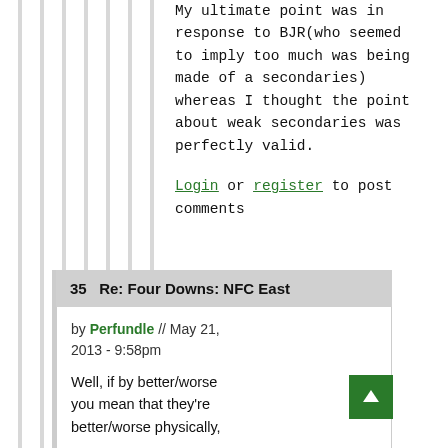My ultimate point was in response to BJR(who seemed to imply too much was being made of a secondaries) whereas I thought the point about weak secondaries was perfectly valid.
Login or register to post comments
35   Re: Four Downs: NFC East
by Perfundle // May 21, 2013 - 9:58pm
Well, if by better/worse you mean that they're better/worse physically,